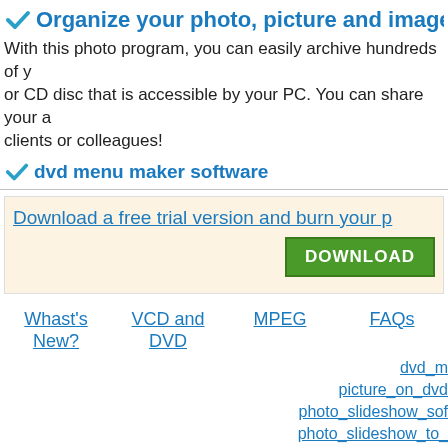Organize your photo, picture and image, archive on C
With this photo program, you can easily archive hundreds of your photos to a DVD or CD disc that is accessible by your PC. You can share your archive with your friends, clients or colleagues!
dvd menu maker software
Download a free trial version and burn your p
[Figure (other): Green DOWNLOAD button]
Whast's New?
VCD and DVD
MPEG
FAQs
dvd_m
picture_on_dvd
photo_slideshow_sof
photo_slideshow_to_
wedding_slideshow_m
photo_slideshows
photo_to_vcd_softw
dvd_player_progra
burn_pictures_to_d
picture_slideshow_on
tv_slide_show
dvd_menu_maker_so
burn_photo_slideshow